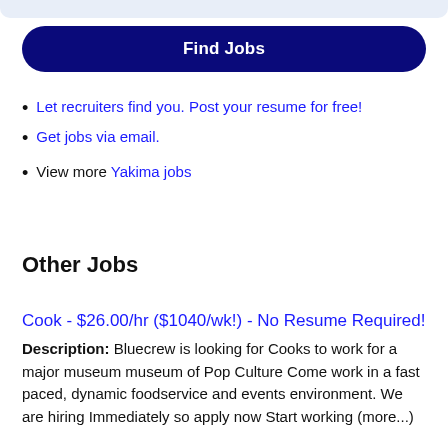[Figure (other): Top rounded bar UI element in light blue/grey]
Find Jobs
Let recruiters find you. Post your resume for free!
Get jobs via email.
View more Yakima jobs
Other Jobs
Cook - $26.00/hr ($1040/wk!) - No Resume Required!
Description: Bluecrew is looking for Cooks to work for a major museum museum of Pop Culture Come work in a fast paced, dynamic foodservice and events environment. We are hiring Immediately so apply now Start working (more...)